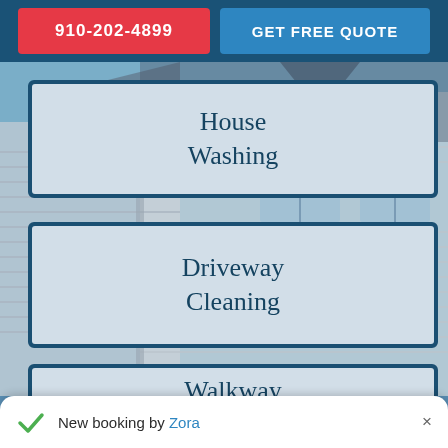910-202-4899
GET FREE QUOTE
[Figure (photo): Background photo of a residential house exterior with siding and roof]
House Washing
Driveway Cleaning
Walkway Cleaning
New booking by Zora